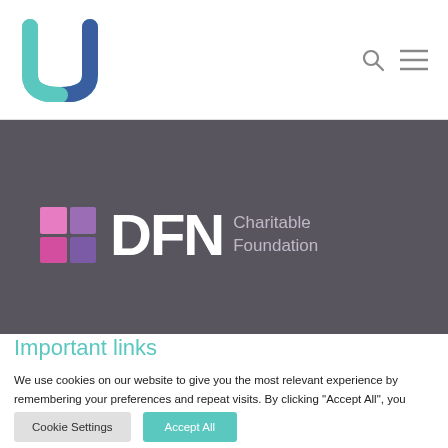U logo and navigation header with search and menu icons
[Figure (logo): DFN Charitable Foundation logo on dark gray background with colorful grid squares]
Important links
We use cookies on our website to give you the most relevant experience by remembering your preferences and repeat visits. By clicking “Accept All”, you consent to the use of ALL the cookies. However, you may visit "Cookie Settings" to provide a controlled consent.
Cookie Settings | Accept All